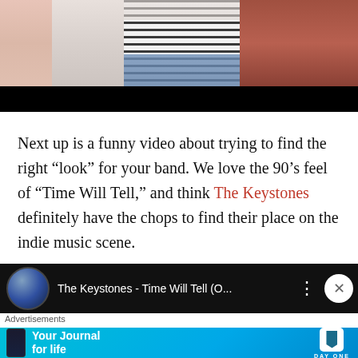[Figure (photo): Top portion of photo showing three people lying down, one wearing a black and white striped crop top and jeans in the center, person on left in light pink, person on right in dark red/maroon. Below the photo is a solid black bar.]
Next up is a funny video about trying to find the right “look” for your band. We love the 90’s feel of “Time Will Tell,” and think The Keystones definitely have the chops to find their place on the indie music scene.
[Figure (screenshot): YouTube-style video player bar showing a circular thumbnail on the left and the video title 'The Keystones - Time Will Tell (O...' in white text on black background, with a three-dot menu icon and a close (X) button on the right.]
Advertisements
[Figure (screenshot): Advertisement banner with light blue gradient background showing a phone with the Day One journaling app, text 'Your Journal for life' in bold white, and the Day One logo (bookmark icon) with brand name on the right.]